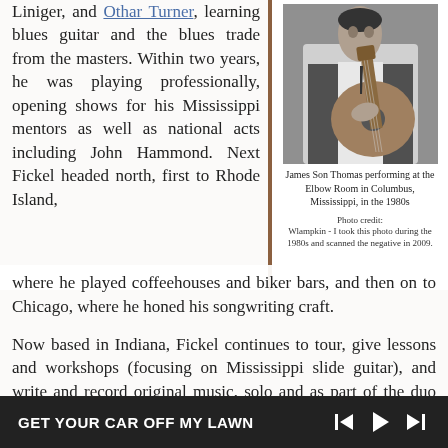Liniger, and Othar Turner, learning blues guitar and the blues trade from the masters. Within two years, he was playing professionally, opening shows for his Mississippi mentors as well as national acts including John Hammond. Next Fickel headed north, first to Rhode Island, where he played coffeehouses and biker bars, and then on to Chicago, where he honed his songwriting craft.
[Figure (photo): Black and white photograph of James Son Thomas performing guitar at the Elbow Room in Columbus, Mississippi, in the 1980s]
James Son Thomas performing at the Elbow Room in Columbus, Mississippi, in the 1980s
Photo credit: Wlampkin - I took this photo during the 1980s and scanned the negative in 2009.
Now based in Indiana, Fickel continues to tour, give lessons and workshops (focusing on Mississippi slide guitar), and write and record original music, solo and as part of the duo Jason & Ginger. Together, they were semi-finalists at the 2011 International Blues Challenge.
GET YOUR CAR OFF MY LAWN